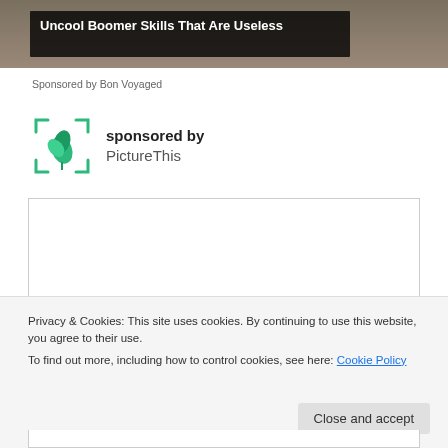[Figure (photo): Partial top image strip (blurred people in background), with dark overlay box containing article title 'Uncool Boomer Skills That Are Useless']
Sponsored by Bon Voyaged
[Figure (logo): PictureThis app logo: green flower/leaf icon inside corner-bracket viewfinder frame]
sponsored by PictureThis
[Figure (other): Advertisement placeholder box (empty white rectangle with border)]
Privacy & Cookies: This site uses cookies. By continuing to use this website, you agree to their use.
To find out more, including how to control cookies, see here: Cookie Policy